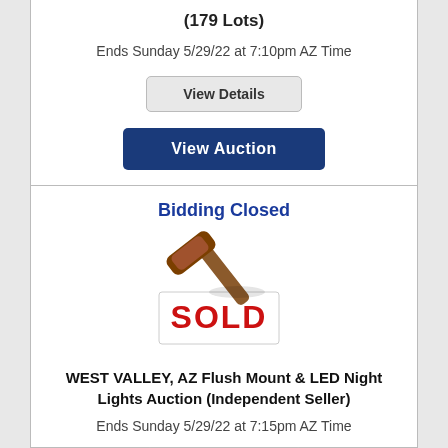(179 Lots)
Ends Sunday 5/29/22 at 7:10pm AZ Time
View Details
View Auction
Bidding Closed
[Figure (illustration): Auction gavel resting on a white SOLD sign with red text]
WEST VALLEY, AZ Flush Mount & LED Night Lights Auction (Independent Seller)
Ends Sunday 5/29/22 at 7:15pm AZ Time
View Details